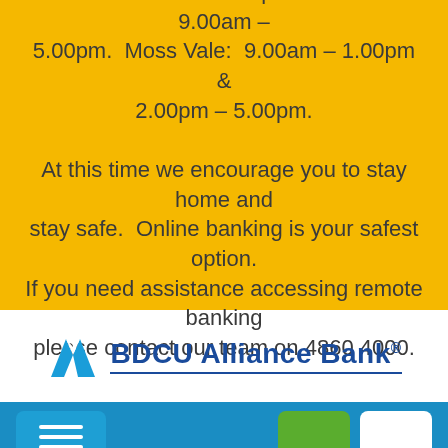Opening hours: Bowral: 9.00am – 5.00pm. Goulburn: 9.00am – 5.00pm. Moss Vale: 9.00am – 1.00pm & 2.00pm – 5.00pm. At this time we encourage you to stay home and stay safe. Online banking is your safest option. If you need assistance accessing remote banking please contact our team on 4860 4000.
[Figure (logo): BDCU Alliance Bank logo with blue triangle/mountain icon and text]